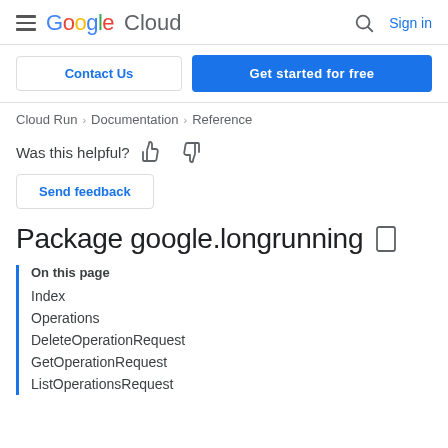Google Cloud — Sign in
Contact Us | Get started for free
Cloud Run > Documentation > Reference
Was this helpful?
Send feedback
Package google.longrunning
On this page
Index
Operations
DeleteOperationRequest
GetOperationRequest
ListOperationsRequest